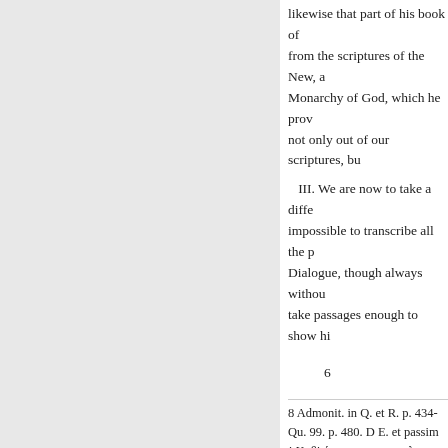likewise that part of his book of from the scriptures of the New, a Monarchy of God, which he prov not only out of our scriptures, bu
III. We are now to take a diffe impossible to transcribe all the p Dialogue, though always withou take passages enough to show hi
6
8 Admonit. in Q. et R. p. 434-
Qu. 99. p. 480. D E. et passim
i Καθ' ά φησιν ο αποσολος Πετρα
* Vid. Qu. 131, 132, 133. Et C
Εβραιοι γαρ ησαν εξ 'Εβραιων, ο
η Hv δ μονον εκ των παρ' ημιν γρ VOL. II.
K
« Претходна